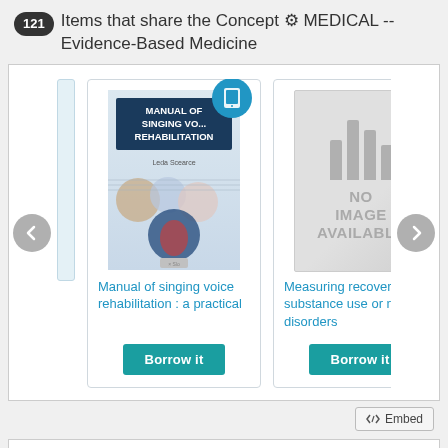121 Items that share the Concept ⚙ MEDICAL -- Evidence-Based Medicine
[Figure (screenshot): Carousel of library items tagged MEDICAL -- Evidence-Based Medicine. Shows two book cards: 'Manual of singing voice rehabilitation : a practical' with a book cover image and a 'Borrow it' button, and 'Measuring recovery from substance use or mental disorders' with a no-image placeholder and a 'Borrow it' button. Left and right navigation arrow buttons visible. Tablet icon badges on each card.]
Manual of singing voice rehabilitation : a practical
Measuring recovery from substance use or mental disorders
</> Embed